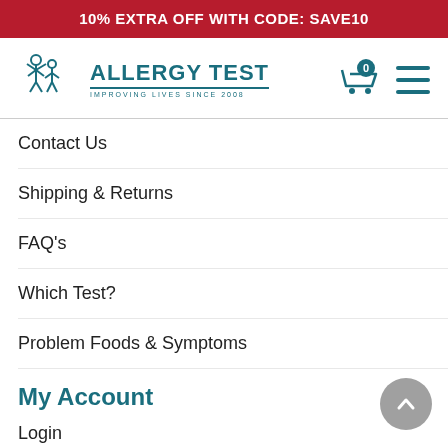10% EXTRA OFF WITH CODE: SAVE10
[Figure (logo): Allergy Test logo with stylized human figures and teal text reading ALLERGY TEST, IMPROVING LIVES SINCE 2008]
Contact Us
Shipping & Returns
FAQ's
Which Test?
Problem Foods & Symptoms
My Account
Login